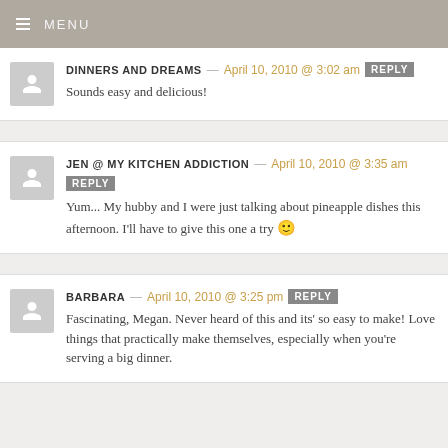MENU
DINNERS AND DREAMS — April 10, 2010 @ 3:02 am  REPLY
Sounds easy and delicious!
JEN @ MY KITCHEN ADDICTION — April 10, 2010 @ 3:35 am  REPLY
Yum... My hubby and I were just talking about pineapple dishes this afternoon. I'll have to give this one a try 🙂
BARBARA — April 10, 2010 @ 3:25 pm  REPLY
Fascinating, Megan. Never heard of this and its' so easy to make! Love things that practically make themselves, especially when you're serving a big dinner.